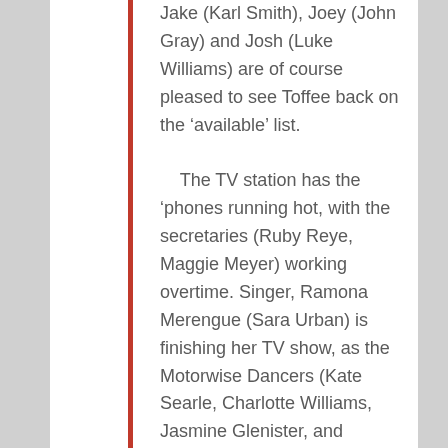Jake (Karl Smith), Joey (John Gray) and Josh (Luke Williams) are of course pleased to see Toffee back on the ‘available’ list.

The TV station has the ‘phones running hot, with the secretaries (Ruby Reye, Maggie Meyer) working overtime. Singer, Ramona Merengue (Sara Urban) is finishing her TV show, as the Motorwise Dancers (Kate Searle, Charlotte Williams, Jasmine Glenister, and Bernadette Ward) finish their